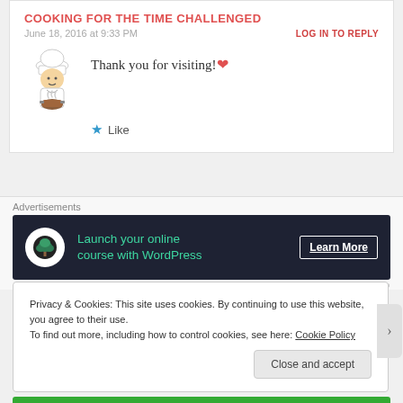COOKING FOR THE TIME CHALLENGED
June 18, 2016 at 9:33 PM
LOG IN TO REPLY
[Figure (illustration): Chef cartoon avatar - a person in chef hat and apron holding a pot]
Thank you for visiting!❤
★ Like
Advertisements
[Figure (screenshot): Advertisement banner: dark background with bonsai tree logo circle, text 'Launch your online course with WordPress', 'Learn More' button]
REPORT THIS AD
Privacy & Cookies: This site uses cookies. By continuing to use this website, you agree to their use.
To find out more, including how to control cookies, see here: Cookie Policy
Close and accept